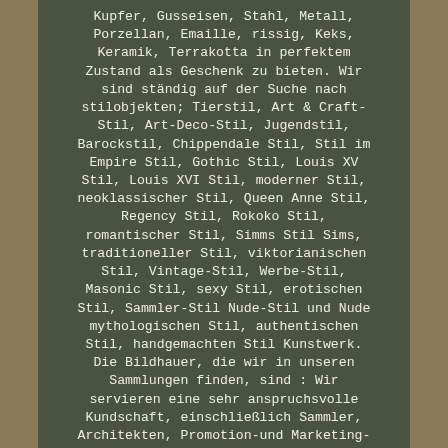Kupfer, Gusseisen, Stahl, Metall, Porzellan, Emaille, rissig, Keks, Keramik, Terrakotta in perfektem Zustand als Geschenk zu bieten. Wir sind ständig auf der Suche nach stilobjekten; Tierstil, Art & Craft-Stil, Art-Deco-Stil, Jugendstil, Barockstil, Chippendale Stil, Stil im Empire Stil, Gothic Stil, Louis XV Stil, Louis XVI Stil, moderner Stil, neoklassischer Stil, Queen Anne Stil, Regency Stil, Rokoko Stil, romantischer Stil, Simms Stil Sims, traditioneller Stil, viktorianischen Stil, Vintage-Stil, Werbe-Stil, Masonic Stil, sexy Stil, erotischen Stil, Sammler-Stil Nude-Stil und Nude mythologischen Stil, authentischen Stil, handgemachten Stil Kunstwerk. Die Bildhauer, die wir in unseren Sammlungen finden, sind : Wir servieren eine sehr anspruchsvolle Kundschaft, einschließlich Sammler, Architekten, Promotion-und Marketing-Gruppen, Landschaftsarchitekten,